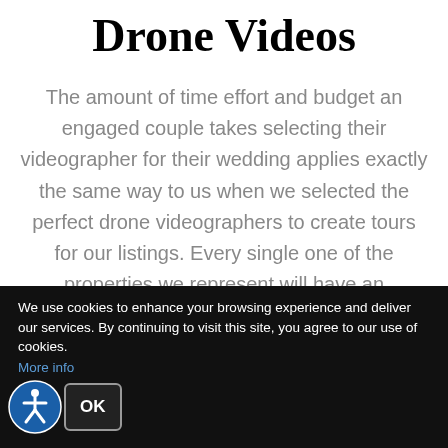Drone Videos
The amount of time effort and budget an engaged couple takes selecting their videographer for their wedding applies exactly the same way to us when we selected the perfect drone videographers to create tours for our listings. Every single one of the properties we represent will have an INCREDIBLE drone video that will wow the sellers. Click on the video below to see a multi-million dollar property that we represented.
We use cookies to enhance your browsing experience and deliver our services. By continuing to visit this site, you agree to our use of cookies. More info
[Figure (illustration): Accessibility icon (wheelchair person in circle) and OK button on dark background]